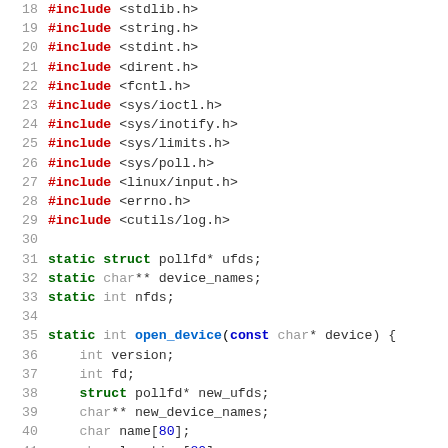Source code listing lines 18-47, C language. #include directives lines 18-29, static variable declarations lines 31-33, static int open_device function starting line 35 with local variable declarations and initial code through line 47.